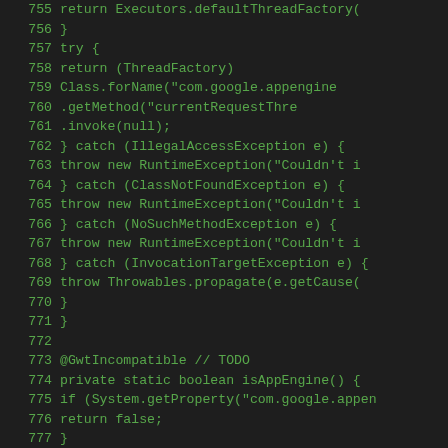[Figure (screenshot): Source code listing in a dark IDE theme showing Java code lines 755-783, with green monospace text on dark background. Code shows return statements, try/catch blocks for IllegalAccessException, ClassNotFoundException, NoSuchMethodException, InvocationTargetException, and a private static boolean isAppEngine() method.]